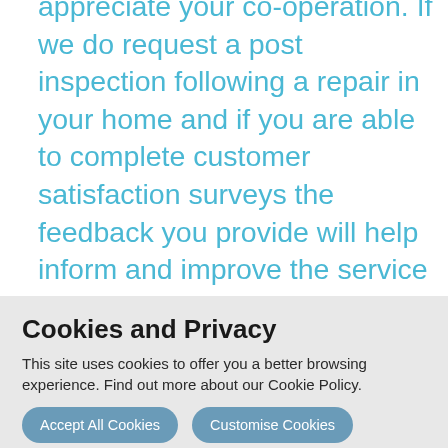appreciate your co-operation. If we do request a post inspection following a repair in your home and if you are able to complete customer satisfaction surveys the feedback you provide will help inform and improve the service we provide. If a post inspection is arranged within your home we would encourage tenants to wear face masks, increase ventilation and keep social distancing in place within their home whilst post inspections are taking place, so to
Cookies and Privacy
This site uses cookies to offer you a better browsing experience. Find out more about our Cookie Policy.